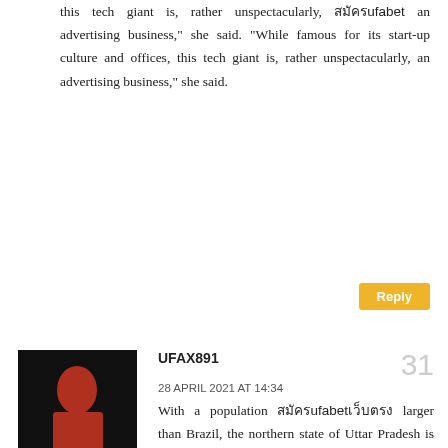this tech giant is, rather unspectacularly, [Thai]ufabet[Thai] an advertising business," she said. "While famous for its start-up culture and offices, this tech giant is, rather unspectacularly, an advertising business," she said.
Reply
[Figure (photo): Avatar image for UFAX891 commenter — dark background with stylized graphic content]
UFAX891
31
28 APRIL 2021 AT 14:34
With a population [Thai]ufabet[Thai] larger than Brazil, the northern state of Uttar Pradesh is India's most populous with 240 million people.
Reply
[Figure (logo): Blogger platform avatar — orange circle with white B letter icon]
Adtra
32
29 APRIL 2021 AT 11:01
The [Thai]UFABET government of Maharashtra, which is home to the financial capital Mumbai, is